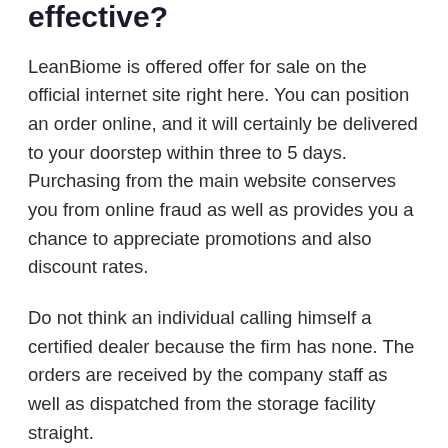effective?
LeanBiome is offered offer for sale on the official internet site right here. You can position an order online, and it will certainly be delivered to your doorstep within three to 5 days. Purchasing from the main website conserves you from online fraud as well as provides you a chance to appreciate promotions and also discount rates.
Do not think an individual calling himself a certified dealer because the firm has none. The orders are received by the company staff as well as dispatched from the storage facility straight.
It is not an expensive item and only calls for a little health budget plan. There are 3 methods to buy it: